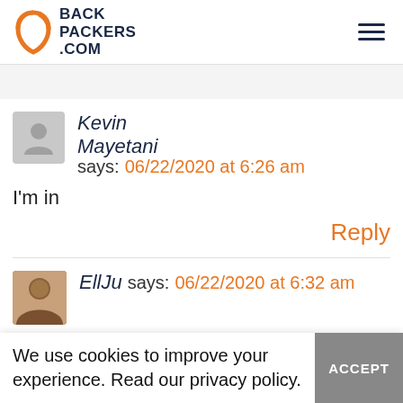BACKPACKERS.COM
Kevin Mayetani says: 06/22/2020 at 6:26 am
I'm in
Reply
EllJu says: 06/22/2020 at 6:32 am
We use cookies to improve your experience. Read our privacy policy.